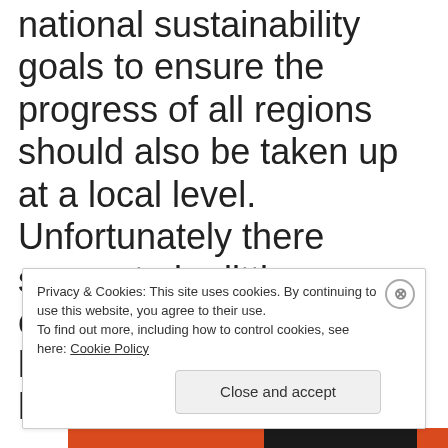national sustainability goals to ensure the progress of all regions should also be taken up at a local level. Unfortunately there seems to be little sense of urgency within the local institutions that have the mandate and resources to influence significant change:
Privacy & Cookies: This site uses cookies. By continuing to use this website, you agree to their use. To find out more, including how to control cookies, see here: Cookie Policy
Close and accept